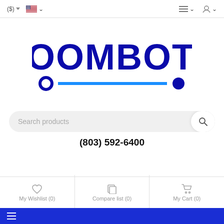($) ∨  [US flag] ∨  ≡ ∨  👤 ∨
[Figure (logo): ZOOMBOTS logo in dark blue bold text with a bright blue horizontal line underneath and two dark blue circles on each end of the line]
Search products
(803) 592-6400
My Wishlist (0)  Compare list (0)  My Cart (0)